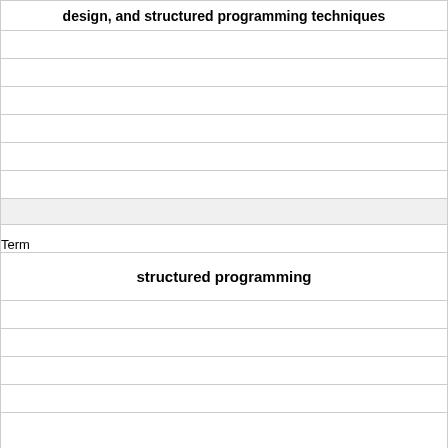| design, and structured programming techniques |
|  |
|  |
|  |
|  |
|  |
|  |
|  |
| Term |
| structured programming |
|  |
|  |
|  |
|  |
|  |
| Definition |
| a programming approach where each module has one start |